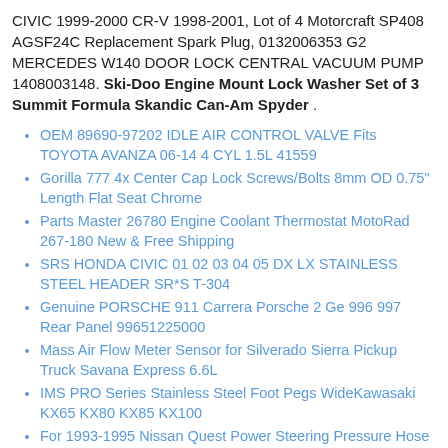CIVIC 1999-2000 CR-V 1998-2001, Lot of 4 Motorcraft SP408 AGSF24C Replacement Spark Plug, 0132006353 G2 MERCEDES W140 DOOR LOCK CENTRAL VACUUM PUMP 1408003148. Ski-Doo Engine Mount Lock Washer Set of 3 Summit Formula Skandic Can-Am Spyder .
OEM 89690-97202 IDLE AIR CONTROL VALVE Fits TOYOTA AVANZA 06-14 4 CYL 1.5L 41559
Gorilla 777 4x Center Cap Lock Screws/Bolts 8mm OD 0.75" Length Flat Seat Chrome
Parts Master 26780 Engine Coolant Thermostat MotoRad 267-180 New & Free Shipping
SRS HONDA CIVIC 01 02 03 04 05 DX LX STAINLESS STEEL HEADER SR*S T-304
Genuine PORSCHE 911 Carrera Porsche 2 Ge 996 997 Rear Panel 99651225000
Mass Air Flow Meter Sensor for Silverado Sierra Pickup Truck Savana Express 6.6L
IMS PRO Series Stainless Steel Foot Pegs WideKawasaki KX65 KX80 KX85 KX100
For 1993-1995 Nissan Quest Power Steering Pressure Hose To Rack 93576XZ 1994
AC Compressor Clutch For Dodge Magnum Charger Chrysler